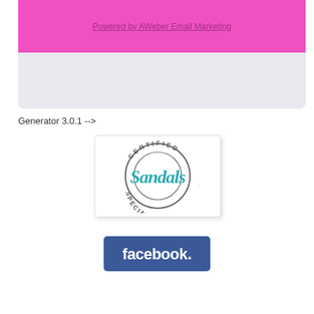[Figure (other): Pink banner with link 'Powered by AWeber Email Marketing' and gray box below]
Generator 3.0.1 -->
[Figure (logo): Certified Sandals Specialist logo — circular badge with teal Sandals script wordmark and gray text arcs reading CERTIFIED and SPECIALIST]
[Figure (logo): Facebook logo button — blue rounded rectangle with white 'facebook.' wordmark]